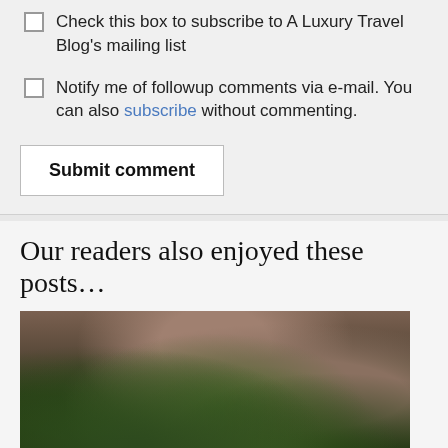Check this box to subscribe to A Luxury Travel Blog's mailing list
Notify me of followup comments via e-mail. You can also subscribe without commenting.
Submit comment
Our readers also enjoyed these posts…
[Figure (photo): Food photo showing green leafy vegetables or herbs, possibly padron peppers or broccolini, in a bowl or plate with blurred background]